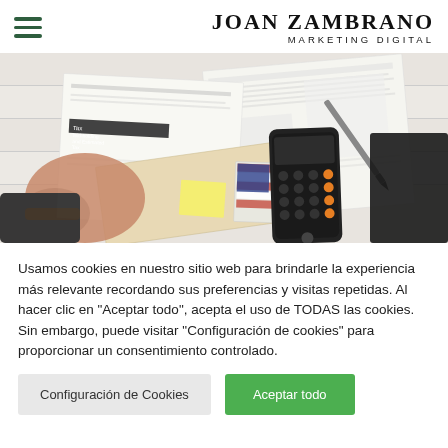JOAN ZAMBRANO MARKETING DIGITAL
[Figure (photo): Overhead view of a person's hands holding tax documents, with a smartphone, pen, and various tax forms (including 'Tax Withholding and Estimated Tax' booklet) spread on a white wooden surface.]
Usamos cookies en nuestro sitio web para brindarle la experiencia más relevante recordando sus preferencias y visitas repetidas. Al hacer clic en "Aceptar todo", acepta el uso de TODAS las cookies. Sin embargo, puede visitar "Configuración de cookies" para proporcionar un consentimiento controlado.
Configuración de Cookies | Aceptar todo